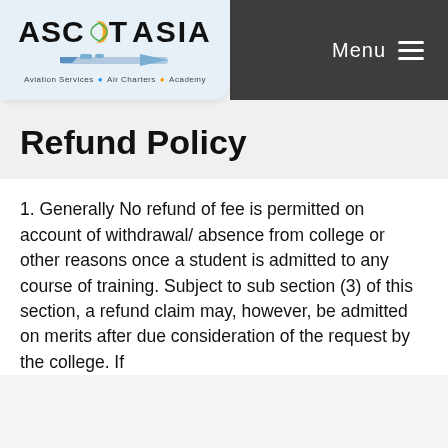Ascot Asia — Aviation Services · Air Charters · Academy | Menu
Refund Policy
1. Generally No refund of fee is permitted on account of withdrawal/ absence from college or other reasons once a student is admitted to any course of training. Subject to sub section (3) of this section, a refund claim may, however, be admitted on merits after due consideration of the request by the college. If